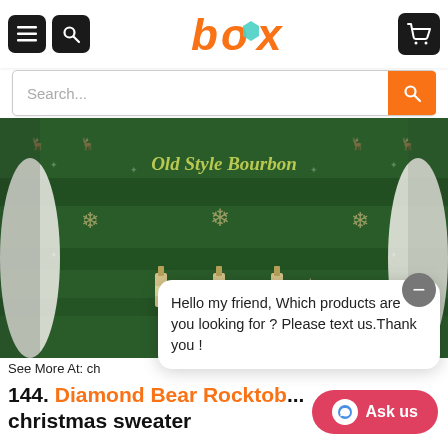[Figure (logo): Box brand logo with orange and teal colors showing the word 'box' in stylized lettering with a hexagon shape]
[Figure (photo): Christmas sweater with green background, snowflakes, reindeer, and Old Style Bourbon branding with whiskey bottles]
See More At: ch...
Hello my friend, Which products are you looking for ? Please text us.Thank you !
144. Diamond Bear Rocktob... christmas sweater